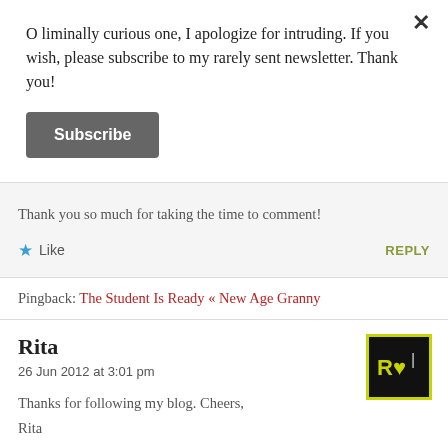O liminally curious one, I apologize for intruding. If you wish, please subscribe to my rarely sent newsletter. Thank you!
Subscribe
more about that.
Thank you so much for taking the time to comment!
★ Like   REPLY
Pingback: The Student Is Ready « New Age Granny
Rita
26 Jun 2012 at 3:01 pm
Thanks for following my blog. Cheers,
Rita